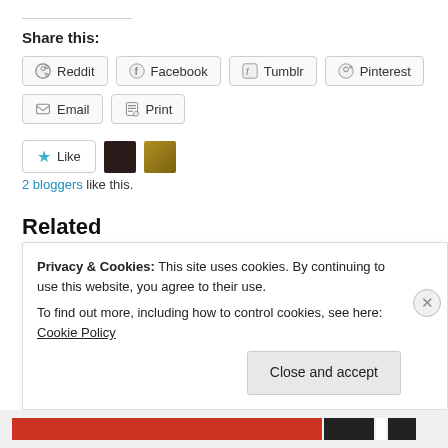Share this:
Reddit
Facebook
Tumblr
Pinterest
Email
Print
[Figure (other): Like button with star icon and two blogger avatars]
2 bloggers like this.
Related
Privacy & Cookies: This site uses cookies. By continuing to use this website, you agree to their use.
To find out more, including how to control cookies, see here: Cookie Policy
Close and accept